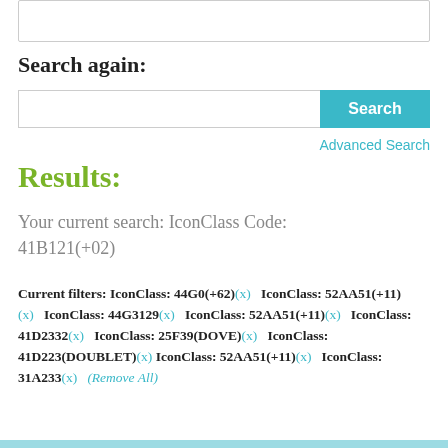[Figure (screenshot): Top search input box (partially visible)]
Search again:
[Figure (screenshot): Search bar with text input and cyan Search button]
Advanced Search
Results:
Your current search: IconClass Code: 41B121(+02)
Current filters: IconClass: 44G0(+62)(x)   IconClass: 52AA51(+11)(x)   IconClass: 44G3129(x)   IconClass: 52AA51(+11)(x)   IconClass: 41D2332(x)   IconClass: 25F39(DOVE)(x)   IconClass: 41D223(DOUBLET)(x)   IconClass: 52AA51(+11)(x)   IconClass: 31A233(x)   (Remove All)